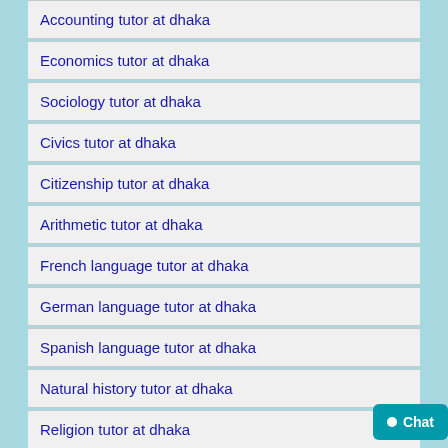Accounting tutor at dhaka
Economics tutor at dhaka
Sociology tutor at dhaka
Civics tutor at dhaka
Citizenship tutor at dhaka
Arithmetic tutor at dhaka
French language tutor at dhaka
German language tutor at dhaka
Spanish language tutor at dhaka
Natural history tutor at dhaka
Religion tutor at dhaka
Quran reading tutor at dhaka
History tutor at dhaka